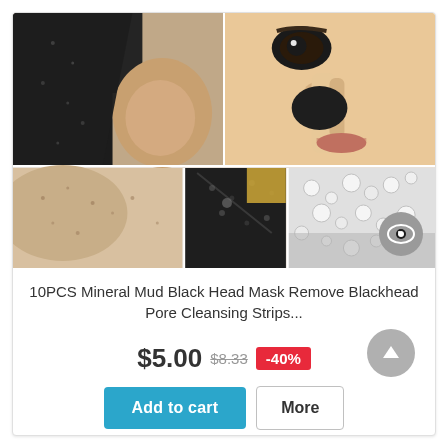[Figure (photo): Product collage showing close-up of nose with black mud mask being peeled off, woman applying black mask to face, and bottom row showing skin texture details and foam/bubbles]
10PCS Mineral Mud Black Head Mask Remove Blackhead Pore Cleansing Strips...
$5.00 $8.33 -40%
Add to cart
More